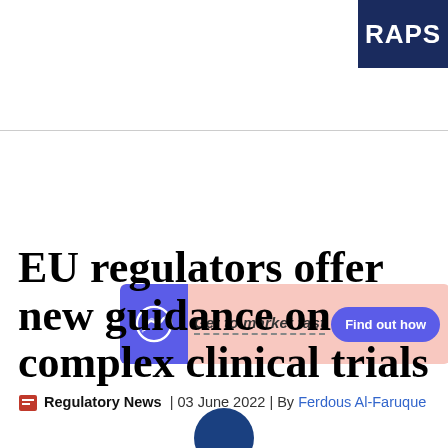RAPS
[Figure (illustration): Advertisement banner with purple left section containing a circular logo, pink background reading 'Get to market fast' with dashed underline, and a purple rounded button 'Find out how']
EU regulators offer new guidance on complex clinical trials
Regulatory News | 03 June 2022 | By Ferdous Al-Faruque